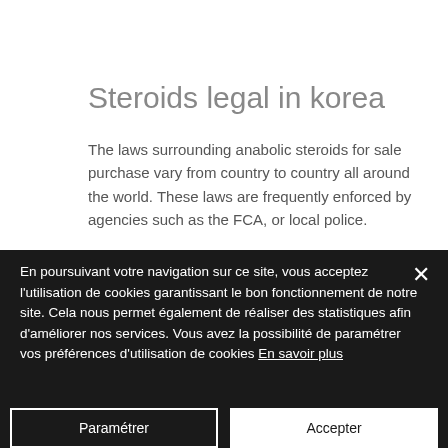Steroids legal in korea
The laws surrounding anabolic steroids for sale purchase vary from country to country all around the world. These laws are frequently enforced by agencies such as the FCA, or local police.
En poursuivant votre navigation sur ce site, vous acceptez l'utilisation de cookies garantissant le bon fonctionnement de notre site. Cela nous permet également de réaliser des statistiques afin d'améliorer nos services. Vous avez la possibilité de paramétrer vos préférences d'utilisation de cookies En savoir plus
Paramétrer
Accepter